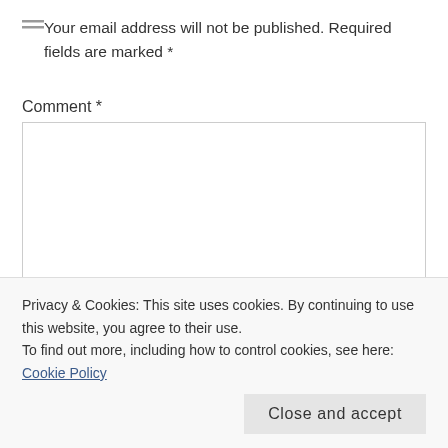Your email address will not be published. Required fields are marked *
Comment *
[Figure (other): Empty comment text area input box]
Privacy & Cookies: This site uses cookies. By continuing to use this website, you agree to their use.
To find out more, including how to control cookies, see here: Cookie Policy
Close and accept